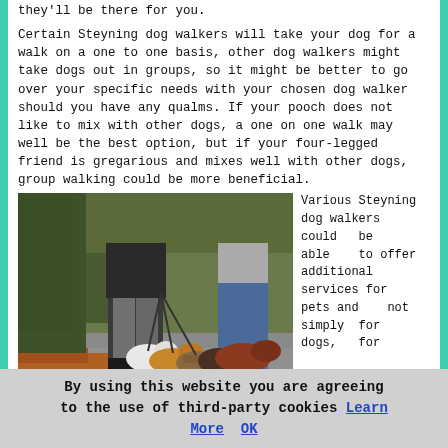they'll be there for you.
Certain Steyning dog walkers will take your dog for a walk on a one to one basis, other dog walkers might take dogs out in groups, so it might be better to go over your specific needs with your chosen dog walker should you have any qualms. If your pooch does not like to mix with other dogs, a one on one walk may well be the best option, but if your four-legged friend is gregarious and mixes well with other dogs, group walking could be more beneficial.
[Figure (photo): A person walking multiple dogs on leashes along a path, with autumn leaves on the ground. Dogs include a white dog, a golden retriever, a striped dog, a dark dog, and a brown dog.]
Various Steyning dog walkers could be able to offer additional services for pets and not simply for dogs, for example they might collect your dog and take it to the vet,
By using this website you are agreeing to the use of third-party cookies Learn More  OK